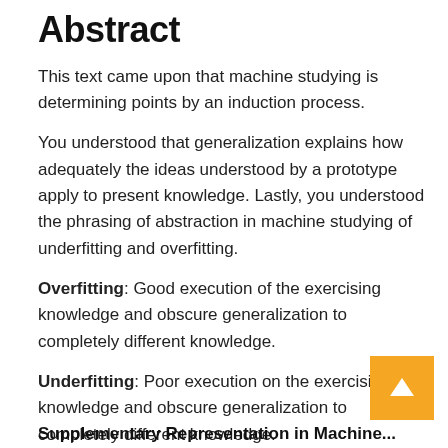Abstract
This text came upon that machine studying is determining points by an induction process.
You understood that generalization explains how adequately the ideas understood by a prototype apply to present knowledge. Lastly, you understood the phrasing of abstraction in machine studying of underfitting and overfitting.
Overfitting: Good execution of the exercising knowledge and obscure generalization to completely different knowledge.
Underfitting: Poor execution on the exercising knowledge and obscure generalization to completely different knowledge.
Supplementary Representation in Machine...